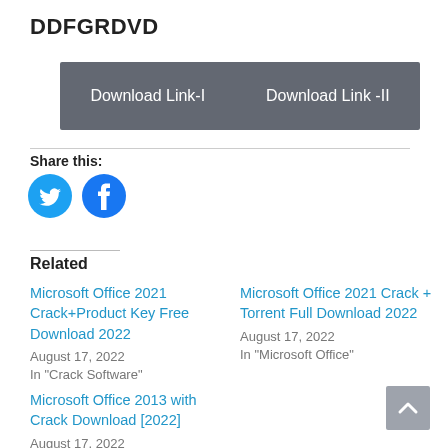DDFGRDVD
[Figure (other): Download buttons bar with 'Download Link-I' and 'Download Link -II' on dark grey background]
Share this:
[Figure (illustration): Twitter and Facebook social share circular blue icon buttons]
Related
Microsoft Office 2021 Crack+Product Key Free Download 2022
August 17, 2022
In "Crack Software"
Microsoft Office 2021 Crack + Torrent Full Download 2022
August 17, 2022
In "Microsoft Office"
Microsoft Office 2013 with Crack Download [2022]
August 17, 2022